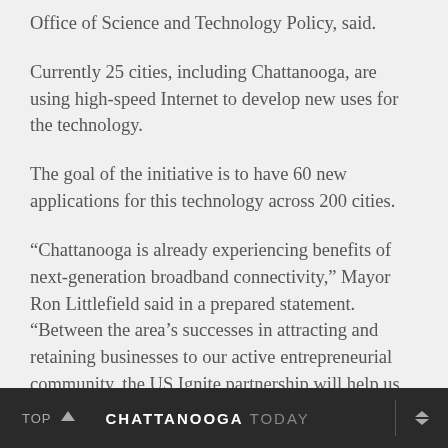Office of Science and Technology Policy, said.
Currently 25 cities, including Chattanooga, are using high-speed Internet to develop new uses for the technology.
The goal of the initiative is to have 60 new applications for this technology across 200 cities.
“Chattanooga is already experiencing benefits of next-generation broadband connectivity,” Mayor Ron Littlefield said in a prepared statement. “Between the area’s successes in attracting and retaining businesses to our active entrepreneurial community, the US Ignite partnership will help us take advantage of EPB’s ultra-fast fiber optic network even more.”
TOP ∧  CHATTANOOGA TODAY